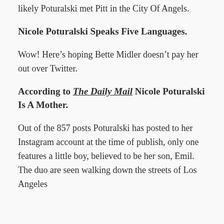likely Poturalski met Pitt in the City Of Angels.
Nicole Poturalski Speaks Five Languages.
Wow! Here’s hoping Bette Midler doesn’t pay her out over Twitter.
According to The Daily Mail Nicole Poturalski Is A Mother.
Out of the 857 posts Poturalski has posted to her Instagram account at the time of publish, only one features a little boy, believed to be her son, Emil. The duo are seen walking down the streets of Los Angeles